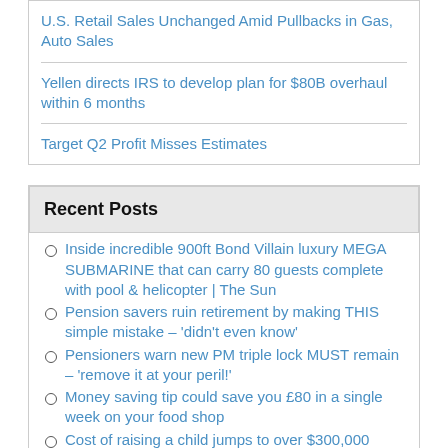U.S. Retail Sales Unchanged Amid Pullbacks in Gas, Auto Sales
Yellen directs IRS to develop plan for $80B overhaul within 6 months
Target Q2 Profit Misses Estimates
Recent Posts
Inside incredible 900ft Bond Villain luxury MEGA SUBMARINE that can carry 80 guests complete with pool & helicopter | The Sun
Pension savers ruin retirement by making THIS simple mistake – 'didn't even know'
Pensioners warn new PM triple lock MUST remain – 'remove it at your peril!'
Money saving tip could save you £80 in a single week on your food shop
Cost of raising a child jumps to over $300,000
US economy likely to face recession by year's end as